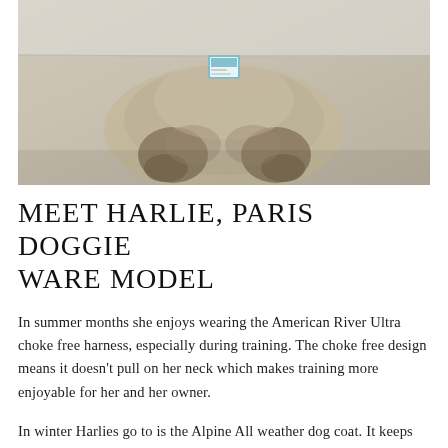[Figure (photo): Close-up top-down photo of a fluffy cream/grey dog (appears to be a poodle or doodle mix) showing its paws and torso on a white surface, with a small colorful tag or card visible near its neck area.]
MEET HARLIE, PARIS DOGGIE WARE MODEL
In summer months she enjoys wearing the American River Ultra choke free harness, especially during training. The choke free design means it doesn't pull on her neck which makes training more enjoyable for her and her owner.
In winter Harlies go to is the Alpine All weather dog coat. It keeps her warm while playing in the snow.